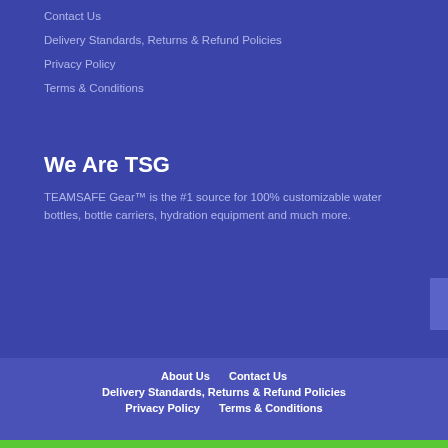Contact Us
Delivery Standards, Returns & Refund Policies
Privacy Policy
Terms & Conditions
We Are TSG
TEAMSAFE Gear™ is the #1 source for 100% customizable water bottles, bottle carriers, hydration equipment and much more.
About Us   Contact Us   Delivery Standards, Returns & Refund Policies   Privacy Policy   Terms & Conditions